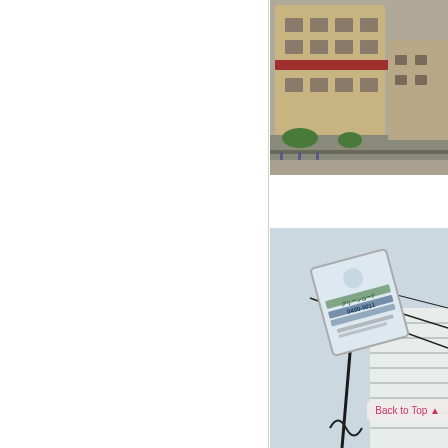[Figure (photo): Aerial or elevated street view photograph showing a residential building with beige/tan exterior and red awning, vehicles parked on street, greenery, and a road with bollards. Partial view, cropped on right side.]
[Figure (photo): Close-up photograph of a real estate or utility sign on a pole against a sky background. The sign appears to show a logo, phone numbers including '0400-5011', a white building with horizontal striped facade visible in background. A pink 'Back to Top' link/button is visible in the lower right area.]